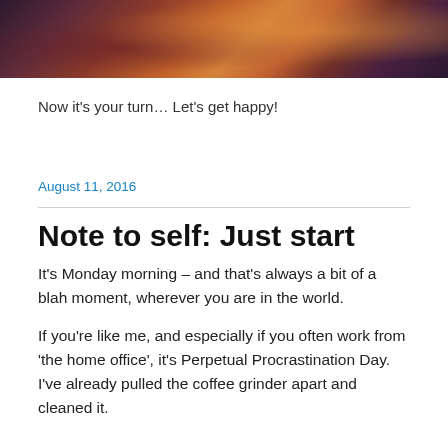[Figure (photo): A sunset landscape photo with warm orange, red, and purple tones showing sky and silhouetted scenery]
Now it's your turn… Let's get happy!
August 11, 2016
Note to self: Just start
It's Monday morning – and that's always a bit of a blah moment, wherever you are in the world.
If you're like me, and especially if you often work from 'the home office', it's Perpetual Procrastination Day. I've already pulled the coffee grinder apart and cleaned it.